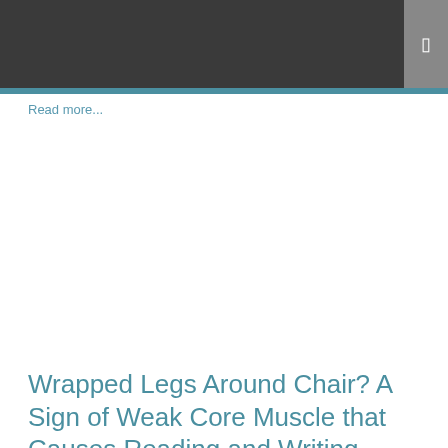Read more...
Wrapped Legs Around Chair? A Sign of Weak Core Muscle that Causes Reading and Writing Delays